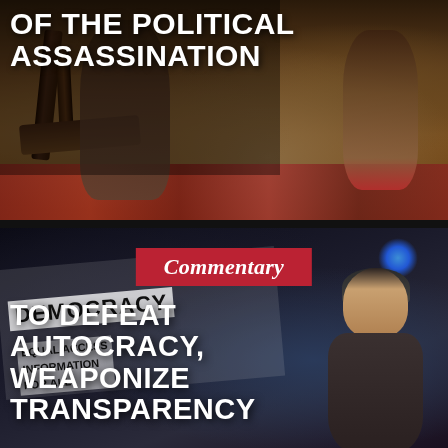[Figure (photo): Historical painting depicting a scene with two figures in period clothing seated near a chair, on a red patterned carpet, dark dramatic background]
OF THE POLITICAL ASSASSINATION
[Figure (photo): Protest scene with a person wearing a beanie hat at a democracy rally, holding a sign that reads DEMOCRACY, with blue lights in the background]
Commentary
TO DEFEAT AUTOCRACY, WEAPONIZE TRANSPARENCY